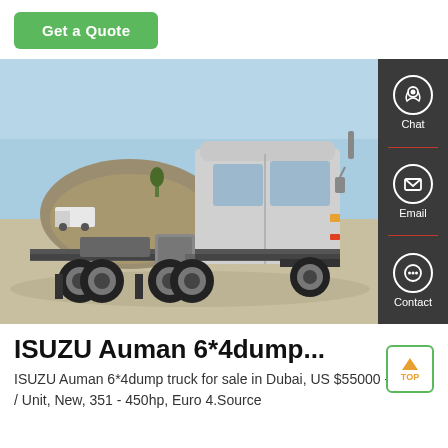Get a Quote
[Figure (photo): Silver ISUZU Auman 6x4 dump truck photographed outdoors in a sandy/rocky area with a hill in the background. Side view showing the chassis, multiple axles, and large tires.]
ISUZU Auman 6*4dump...
ISUZU Auman 6*4dump truck for sale in Dubai, US $ 55000 - 60000 / Unit, New, 351 - 450hp, Euro 4.Source